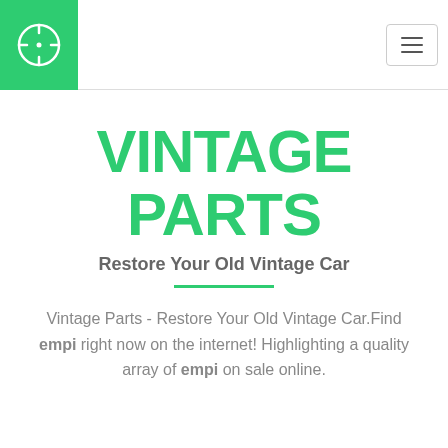[Figure (logo): Green square logo with white crosshair/target icon in center]
[Figure (other): Hamburger menu button with three horizontal lines, light border]
VINTAGE PARTS
Restore Your Old Vintage Car
Vintage Parts - Restore Your Old Vintage Car.Find empi right now on the internet! Highlighting a quality array of empi on sale online.